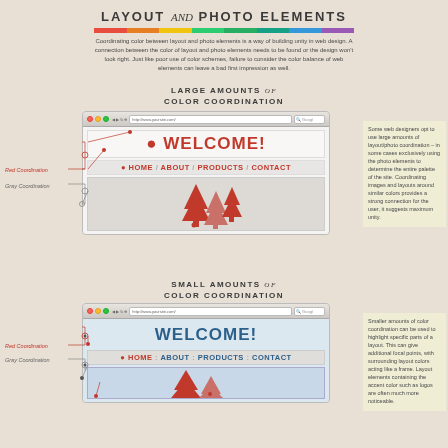LAYOUT and PHOTO ELEMENTS
Coordinating color between layout and photo elements is a way of building unity in web design. A connection between the color of layout and photo elements needs to be found or the design won't look right. Just like poor use of color schemes, failure to consider the color balance of web elements can leave a bad first impression as well.
LARGE AMOUNTS of COLOR COORDINATION
[Figure (illustration): Browser mockup showing a website with red WELCOME header, red nav bar with HOME/ABOUT/PRODUCTS/CONTACT, and red/salmon pine tree illustration. Annotations show Red Coordination and Gray Coordination labels with lines pointing to elements.]
Some web designers opt to use large amounts of layout/photo coordination – in some cases exclusively using the photo elements to determine the entire palette of the site. Coordinating images and layouts around similar colors provides a strong connection for the user, it suggests maximum unity.
SMALL AMOUNTS of COLOR COORDINATION
[Figure (illustration): Browser mockup showing a website with blue WELCOME header, red nav bar with HOME/ABOUT/PRODUCTS/CONTACT on gray background with blue body, and red/salmon pine tree. Annotations show Red Coordination and Gray Coordination labels.]
Smaller amounts of color coordination can be used to highlight specific parts of a layout. This can give additional focal points, with surrounding layout colors acting like a frame. Layout elements containing the accent color such as logos are often much more noticeable.